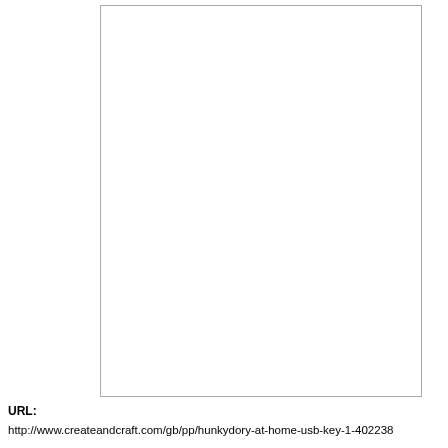[Figure (other): A white rectangular box with thin grey border lines on the left and bottom edges, mostly blank/white space filling the upper portion of the page.]
URL:
http://www.createandcraft.com/gb/pp/hunkydory-at-home-usb-key-1-402238